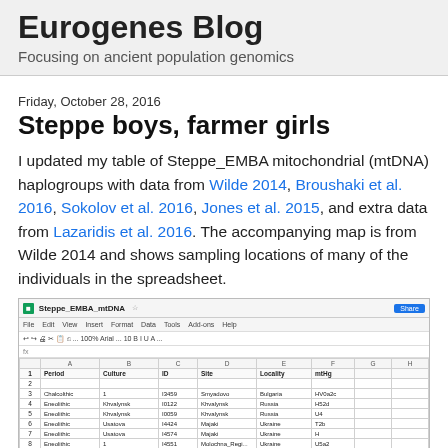Eurogenes Blog
Focusing on ancient population genomics
Friday, October 28, 2016
Steppe boys, farmer girls
I updated my table of Steppe_EMBA mitochondrial (mtDNA) haplogroups with data from Wilde 2014, Broushaki et al. 2016, Sokolov et al. 2016, Jones et al. 2015, and extra data from Lazaridis et al. 2016. The accompanying map is from Wilde 2014 and shows sampling locations of many of the individuals in the spreadsheet.
[Figure (screenshot): Screenshot of a Google Sheets spreadsheet titled Steppe_EMBA_mtDNA showing columns for Period, Culture, ID, Site, Locality, mtHg with several rows of ancient DNA data entries]